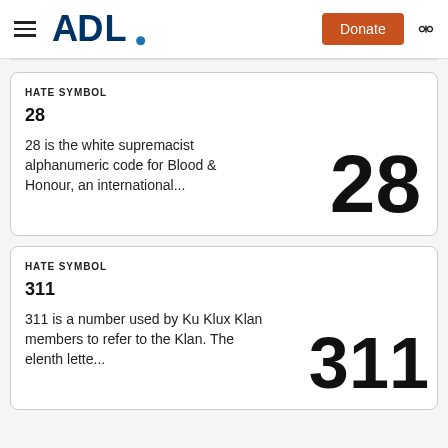ADL | Donate
HATE SYMBOL
28
28 is the white supremacist alphanumeric code for Blood & Honour, an international...
[Figure (other): Large bold numeral '28' displayed as a hate symbol illustration]
HATE SYMBOL
311
311 is a number used by Ku Klux Klan members to refer to the Klan. The elenth lette...
[Figure (other): Large bold numeral '311' displayed as a hate symbol illustration]